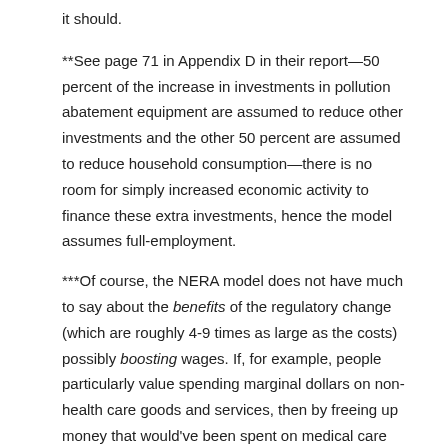it should.
**See page 71 in Appendix D in their report—50 percent of the increase in investments in pollution abatement equipment are assumed to reduce other investments and the other 50 percent are assumed to reduce household consumption—there is no room for simply increased economic activity to finance these extra investments, hence the model assumes full-employment.
***Of course, the NERA model does not have much to say about the benefits of the regulatory change (which are roughly 4-9 times as large as the costs) possibly boosting wages. If, for example, people particularly value spending marginal dollars on non-health care goods and services, then by freeing up money that would've been spent on medical care due to pollution-driven illnesses before the regulation was enacted, this could actually make people decide to work more. It's true that lots of the benefits of the toxics rule will not show up necessarily in extra measured GDP – the value of simply not being sick, for example. But many of these benefits will indeed boost GDP – extra work days put in by people not sickened by air pollution, for example.